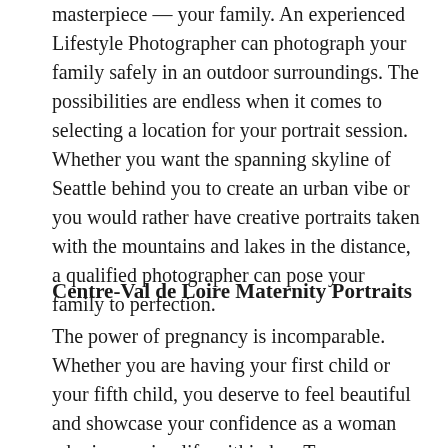masterpiece — your family. An experienced Lifestyle Photographer can photograph your family safely in an outdoor surroundings. The possibilities are endless when it comes to selecting a location for your portrait session. Whether you want the spanning skyline of Seattle behind you to create an urban vibe or you would rather have creative portraits taken with the mountains and lakes in the distance, a qualified photographer can pose your family to perfection.
Centre-Val de Loire Maternity Portraits
The power of pregnancy is incomparable. Whether you are having your first child or your fifth child, you deserve to feel beautiful and showcase your confidence as a woman who is growing life within her. To preserve this moment in time, you should hire a pro France lifestyle portrait photographer for a maternity portrait session. When they have captured